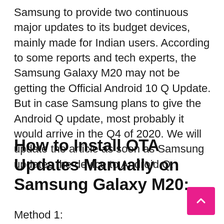Samsung to provide two continuous major updates to its budget devices, mainly made for Indian users. According to some reports and tech experts, the Samsung Galaxy M20 may not be getting the Official Android 10 Q Update. But in case Samsung plans to give the Android Q update, most probably it would arrive in the Q4 of 2020. We will update the article as soon as Samsung updates the device to Android Q.
How to Install OTA Updates Manually on Samsung Galaxy M20:
Method 1: